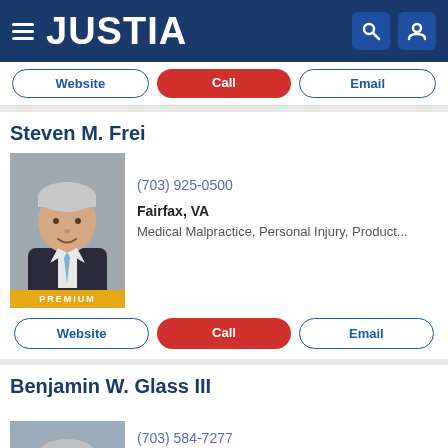JUSTIA
Website | Call | Email
Steven M. Frei
(703) 925-0500
Fairfax, VA
Medical Malpractice, Personal Injury, Product...
Website | Call | Email
Benjamin W. Glass III
(703) 584-7277
Fairfax, VA
Personal Injury, Employment Law